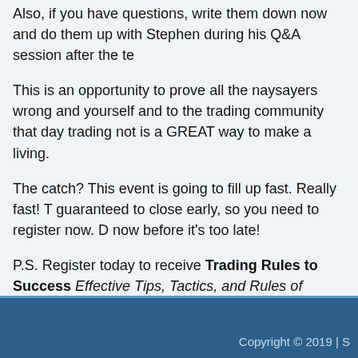Also, if you have questions, write them down now and do them up with Stephen during his Q&A session after the te...
This is an opportunity to prove all the naysayers wrong and yourself and to the trading community that day trading not is a GREAT way to make a living.
The catch? This event is going to fill up fast. Really fast! T guaranteed to close early, so you need to register now. D now before it's too late!
P.S. Register today to receive Trading Rules to Success Effective Tips, Tactics, and Rules of Successful Traders.
Copyright © 2019 | S